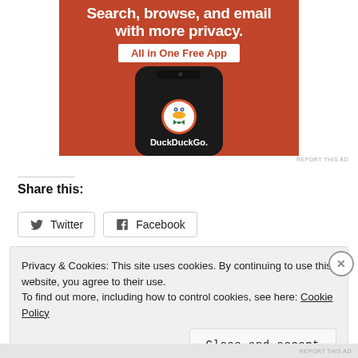[Figure (illustration): DuckDuckGo advertisement banner showing a smartphone on an orange background with the text 'Search, browse, and email with more privacy. All in One Free App' and the DuckDuckGo duck logo on the phone screen.]
REPORT THIS AD
Share this:
Twitter
Facebook
Privacy & Cookies: This site uses cookies. By continuing to use this website, you agree to their use.
To find out more, including how to control cookies, see here: Cookie Policy
Close and accept
REPORT THIS AD